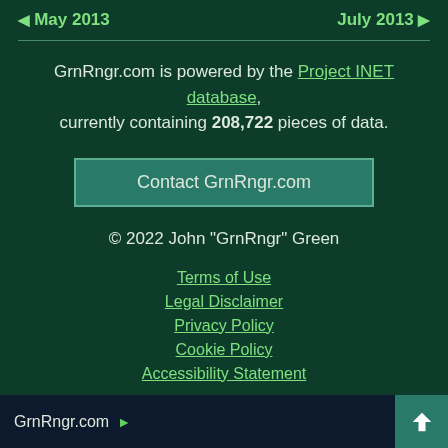◀ May 2013    July 2013 ▶
GrnRngr.com is powered by the Project INET database, currently containing 208,722 pieces of data.
Contact GrnRngr.com
© 2022 John "GrnRngr" Green
Terms of Use
Legal Disclaimer
Privacy Policy
Cookie Policy
Accessibility Statement
GrnRngr.com ▶